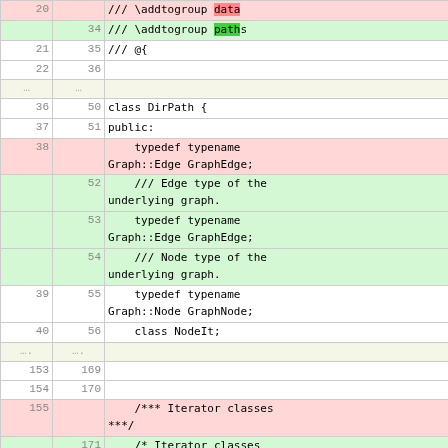[Figure (screenshot): A diff view of C++ source code showing additions (green) and deletions (red) for graph path iterator classes. Left column shows old line numbers, right column shows new line numbers, right-most column shows code content.]